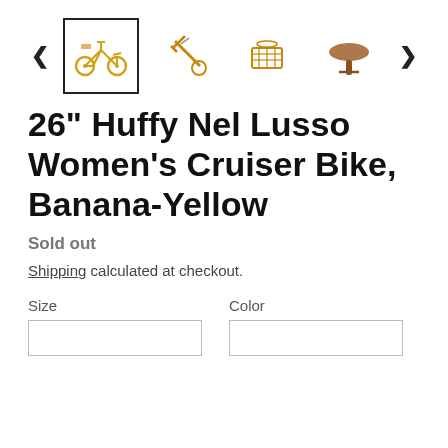[Figure (screenshot): Product image thumbnail gallery showing a yellow cruiser bike from multiple angles, with left and right navigation arrows and four thumbnail images. The first thumbnail is selected with a black border.]
26" Huffy Nel Lusso Women's Cruiser Bike, Banana-Yellow
Sold out
Shipping calculated at checkout.
Size
Color